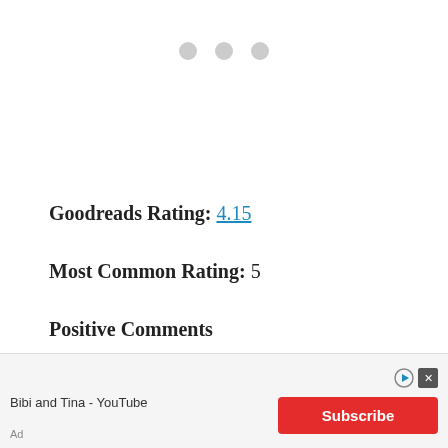[Figure (other): Three light gray dots in a row, indicating a loading or carousel indicator]
Goodreads Rating: 4.15
Most Common Rating: 5
Positive Comments
Readers who enjoyed Poison Study often remarked that the romantic chemistry between Yelena, the
[Figure (other): Advertisement banner: Bibi and Tina - YouTube with a red Subscribe button and close/play icons]